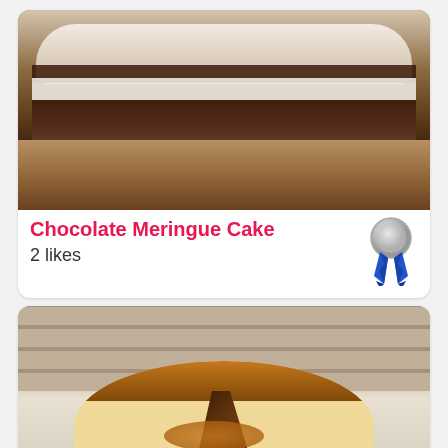[Figure (photo): Photo of a Chocolate Meringue Cake — a layered dessert with fluffy white meringue on top, cream and chocolate layers, dusted with powdered sugar, on a wooden board]
Chocolate Meringue Cake
2 likes
[Figure (illustration): Blue and silver award ribbon/badge icon]
[Figure (photo): Photo of a round baked cheesecake or tart in a springform tin, partially sliced, with caramel/chocolate topping, against a brick wall background]